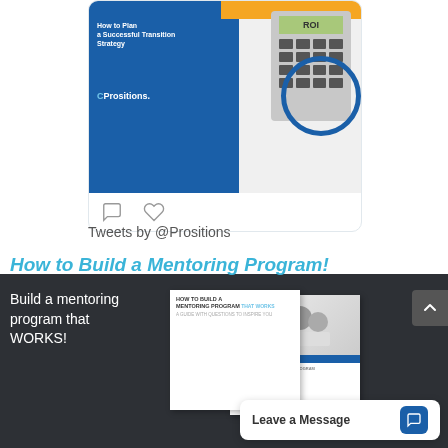[Figure (screenshot): Twitter/social media card showing a Prositions book cover with ROI calculator image and social action icons (comment, heart)]
Tweets by @Prositions
How to Build a Mentoring Program!
Build a mentoring program that WORKS!
[Figure (photo): Two book covers: 'How to Build a Mentoring Program that Works' guide with a Q&A subtitle, and a second cover showing professionals looking at a laptop]
Leave a Message